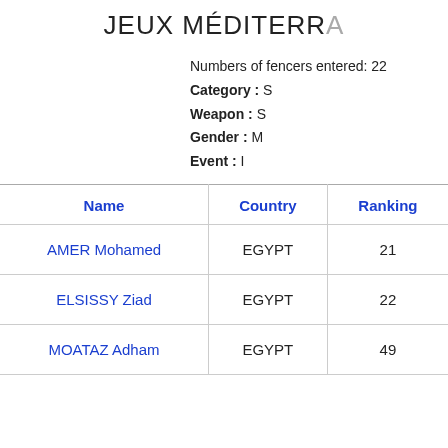JEUX MÉDITERR…
Numbers of fencers entered: 22
Category : S
Weapon : S
Gender : M
Event : I
| Name | Country | Ranking |
| --- | --- | --- |
| AMER Mohamed | EGYPT | 21 |
| ELSISSY Ziad | EGYPT | 22 |
| MOATAZ Adham | EGYPT | 49 |